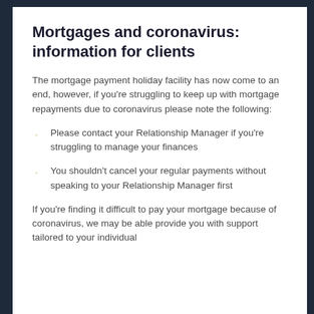Mortgages and coronavirus: information for clients
The mortgage payment holiday facility has now come to an end, however, if you're struggling to keep up with mortgage repayments due to coronavirus please note the following:
Please contact your Relationship Manager if you're struggling to manage your finances
You shouldn't cancel your regular payments without speaking to your Relationship Manager first
If you're finding it difficult to pay your mortgage because of coronavirus, we may be able provide you with support tailored to your individual